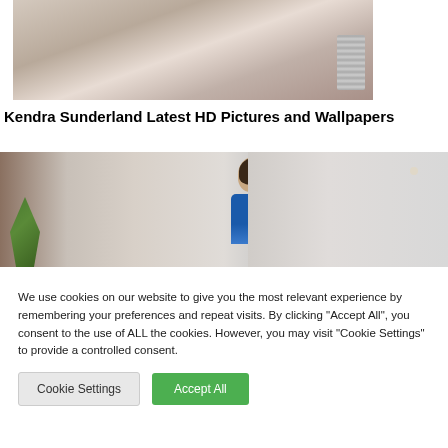[Figure (photo): Partial close-up photo of a person wearing a white top and a silver/diamond bracelet on their wrist]
Kendra Sunderland Latest HD Pictures and Wallpapers
[Figure (photo): Photo of a dark-haired woman in a blue outfit standing indoors with a plant and white walls visible]
We use cookies on our website to give you the most relevant experience by remembering your preferences and repeat visits. By clicking "Accept All", you consent to the use of ALL the cookies. However, you may visit "Cookie Settings" to provide a controlled consent.
Cookie Settings  Accept All